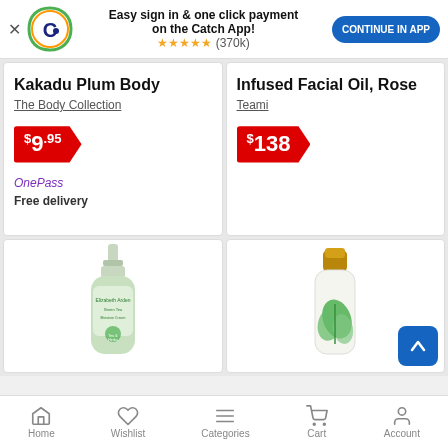[Figure (screenshot): App promotion banner with Catch.com.au logo, text 'Easy sign in & one click payment on the Catch App!', 5-star rating (370k reviews), and 'CONTINUE IN APP' button]
Kakadu Plum Body
The Body Collection
$9.95
OnePass Free delivery
Infused Facial Oil, Rose
Teami
$138
[Figure (photo): Green pump lotion bottle (Elizabeth Arden Green Tea)]
[Figure (photo): White lotion bottle with gold cap and green leaf design]
Home  Wishlist  Categories  Cart  Account